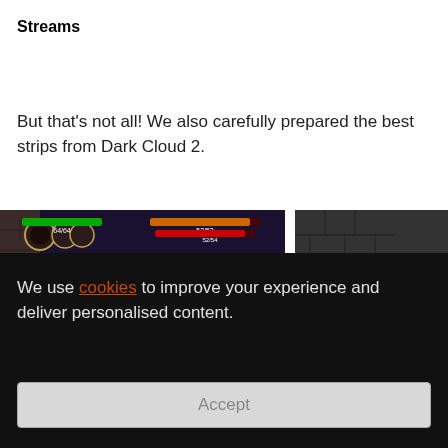Streams
But that's not all! We also carefully prepared the best strips from Dark Cloud 2.
[Figure (screenshot): Dark Cloud 2 gameplay screenshot showing dungeon map overlay with character health bars (64/64, 53/53, 52/54) and a female character running in a stone dungeon]
[Figure (screenshot): Dark Cloud 2 gameplay screenshot showing stone dungeon corridor with a female character visible at the right edge]
We use cookies to improve your experience and deliver personalised content.
Accept